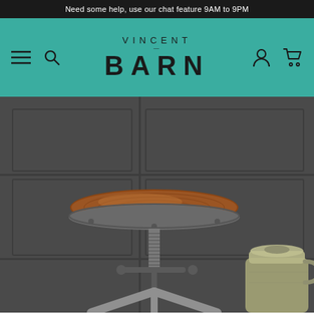Need some help, use our chat feature 9AM to 9PM
[Figure (logo): Vincent and Barn logo on teal navigation header with hamburger menu, search icon on left, and account/cart icons on right]
[Figure (photo): Close-up product photo of an industrial-style adjustable bar stool with a round wooden seat and metal base, photographed against a dark grey panelled wall background with a vintage metal jug/canister visible in the bottom right]